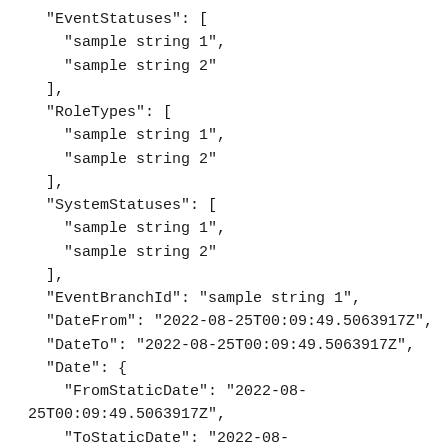"EventStatuses": [
    "sample string 1",
    "sample string 2"
  ],
  "RoleTypes": [
    "sample string 1",
    "sample string 2"
  ],
  "SystemStatuses": [
    "sample string 1",
    "sample string 2"
  ],
  "EventBranchId": "sample string 1",
  "DateFrom": "2022-08-25T00:09:49.5063917Z",
  "DateTo": "2022-08-25T00:09:49.5063917Z",
  "Date": {
    "FromStaticDate": "2022-08-25T00:09:49.5063917Z",
    "ToStaticDate": "2022-08-25T00:09:49.5063917Z",
    "PredefinedDateRange": {
      "Id": 1,